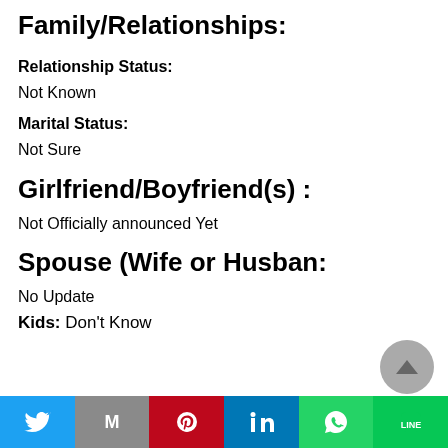Family/Relationships:
Relationship Status:
Not Known
Marital Status:
Not Sure
Girlfriend/Boyfriend(s) :
Not Officially announced Yet
Spouse (Wife or Husban:
No Update
Kids: Don't Know
[Figure (other): Share bar with Twitter, Gmail, Pinterest, LinkedIn, WhatsApp, LINE buttons]